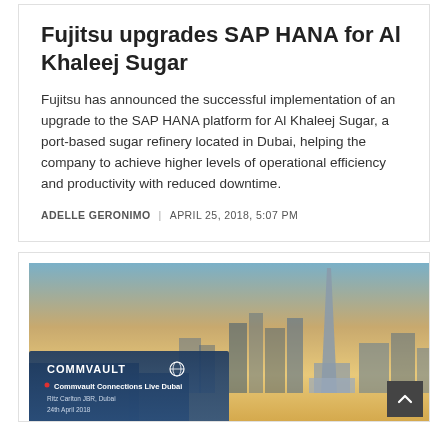Fujitsu upgrades SAP HANA for Al Khaleej Sugar
Fujitsu has announced the successful implementation of an upgrade to the SAP HANA platform for Al Khaleej Sugar, a port-based sugar refinery located in Dubai, helping the company to achieve higher levels of operational efficiency and productivity with reduced downtime.
ADELLE GERONIMO | APRIL 25, 2018, 5:07 PM
[Figure (photo): Commvault Connections Live Dubai event banner showing Dubai skyline at sunset with Burj Khalifa, overlaid with Commvault branding and event details: 'Commvault Connections Live Dubai, Ritz Carlton JBR, Dubai, 24th April 2018']